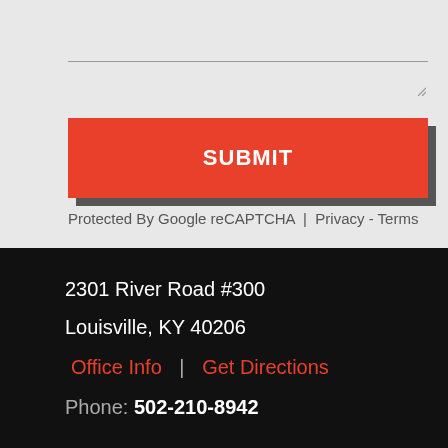[Figure (screenshot): Text area input field with a resize handle in the bottom-right corner, on a light gray background]
SUBMIT
Protected By Google reCAPTCHA | Privacy - Terms
2301 River Road #300
Louisville, KY 40206
Office Info | Get Directions
Phone: 502-210-8942